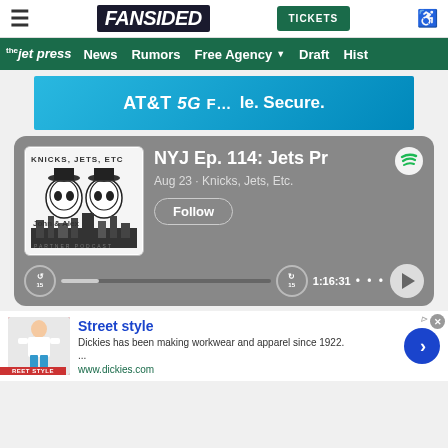FanSided | TICKETS
[Figure (screenshot): FanSided website navigation bar with hamburger menu, FanSided logo, TICKETS button, and accessibility icon]
[Figure (screenshot): The Jet Press green navigation bar with News, Rumors, Free Agency, Draft, Hist menu items]
[Figure (photo): AT&T 5G advertisement banner - Fast. Secure.]
[Figure (screenshot): Spotify podcast player card showing NYJ Ep. 114: Jets Pr - Knicks, Jets, Etc. podcast, Aug 23, with Follow button, progress bar showing 1:16:31]
[Figure (photo): Street style advertisement - Dickies has been making workwear and apparel since 1922. www.dickies.com]